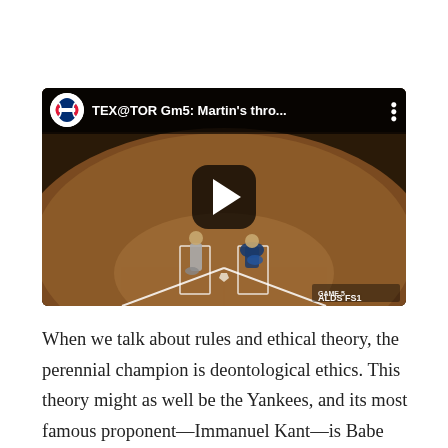[Figure (screenshot): YouTube-style video thumbnail showing a baseball game at home plate. MLB logo in top-left corner. Title reads 'TEX@TOR Gm5: Martin's thro...' with a three-dot menu icon. A play button is visible in the center. Two players near home plate on a dirt field. 'ALDS FS1' badge in the bottom-right corner.]
When we talk about rules and ethical theory, the perennial champion is deontological ethics. This theory might as well be the Yankees, and its most famous proponent—Immanuel Kant—is Babe Ruth. Kant's deontological system of ethics